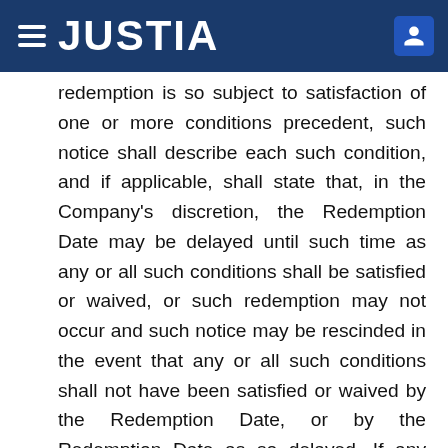JUSTIA
redemption is so subject to satisfaction of one or more conditions precedent, such notice shall describe each such condition, and if applicable, shall state that, in the Company's discretion, the Redemption Date may be delayed until such time as any or all such conditions shall be satisfied or waived, or such redemption may not occur and such notice may be rescinded in the event that any or all such conditions shall not have been satisfied or waived by the Redemption Date, or by the Redemption Date as so delayed. If any condition precedent has not been satisfied, the Company shall provide written notice to the Trustee at least two Business Days prior to the Redemption Date that such condition